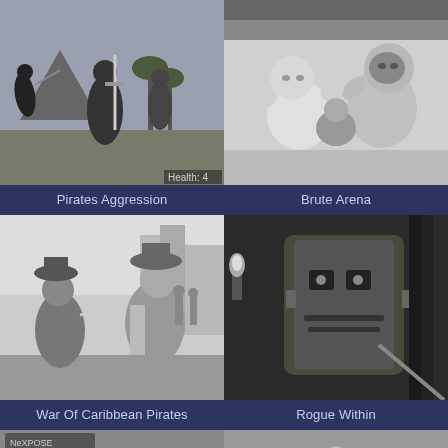[Figure (screenshot): Grayscale screenshot of Pirates Aggression game showing 3D characters fighting with swords on a tropical island with palm trees and mountain in background. Text 'Health: 4' visible in corner.]
Pirates Aggression
[Figure (screenshot): Grayscale screenshot of Brute Arena game showing two animated cartoon-style muscular characters wrestling/fighting in an arena setting.]
Brute Arena
[Figure (screenshot): Grayscale screenshot of War Of Caribbean Pirates game showing 3D pirate characters fighting with swords in a bright outdoor setting with buildings in background.]
War Of Caribbean Pirates
[Figure (screenshot): Grayscale screenshot of Rogue Within game showing a dark 3D scene with a character's face close up, dark castle/dungeon environment, torch visible in background.]
Rogue Within
[Figure (screenshot): Partial grayscale screenshot showing text 'GUEST-0228' at bottom, with stone floor texture and a gray UI panel with text at top.]
[Figure (screenshot): Partial grayscale screenshot showing a stylized eagle/bird emblem with spread wings in the center of the image.]